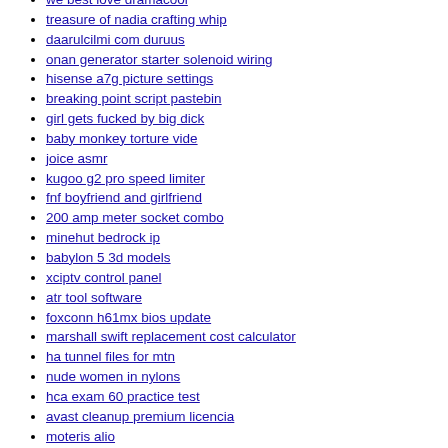we best love dramacool
treasure of nadia crafting whip
daarulcilmi com duruus
onan generator starter solenoid wiring
hisense a7g picture settings
breaking point script pastebin
girl gets fucked by big dick
baby monkey torture vide
joice asmr
kugoo g2 pro speed limiter
fnf boyfriend and girlfriend
200 amp meter socket combo
minehut bedrock ip
babylon 5 3d models
xciptv control panel
atr tool software
foxconn h61mx bios update
marshall swift replacement cost calculator
ha tunnel files for mtn
nude women in nylons
hca exam 60 practice test
avast cleanup premium licencia
moteris alio
mango mod menu gorilla tag
mmd model archive